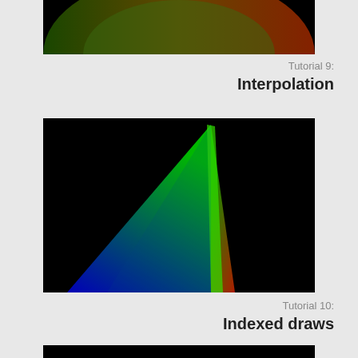[Figure (illustration): Partially visible image at top: a dark gradient showing green on the left and red on the right against a black background, appearing to be the bottom portion of a larger image (Tutorial 9 illustration).]
Tutorial 9:
Interpolation
[Figure (illustration): A black background with two triangular shapes rendered with color interpolation: a large triangle spanning from bottom-left (blue) through green at the apex to red at the right, and a narrow bright green strip in the center. Colors blend from blue at bottom-left, green at top, and red at bottom-right.]
Tutorial 10:
Indexed draws
[Figure (illustration): Partially visible image at the bottom: a black background, bottom portion of another tutorial illustration.]